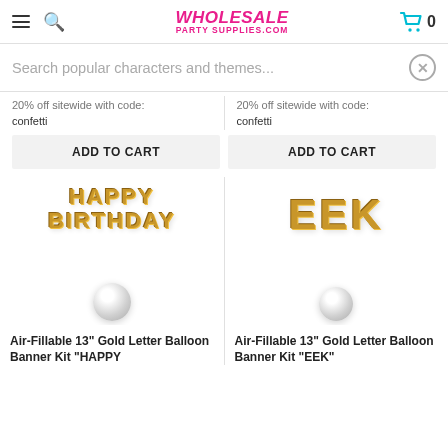WHOLESALE PARTY SUPPLIES.COM
Search popular characters and themes...
20% off sitewide with code: confetti
20% off sitewide with code: confetti
ADD TO CART
ADD TO CART
[Figure (photo): Gold letter balloon banner spelling HAPPY BIRTHDAY with balloon weights]
[Figure (photo): Gold letter balloon banner spelling EEK with balloon weight]
Air-Fillable 13" Gold Letter Balloon Banner Kit "HAPPY
Air-Fillable 13" Gold Letter Balloon Banner Kit "EEK"